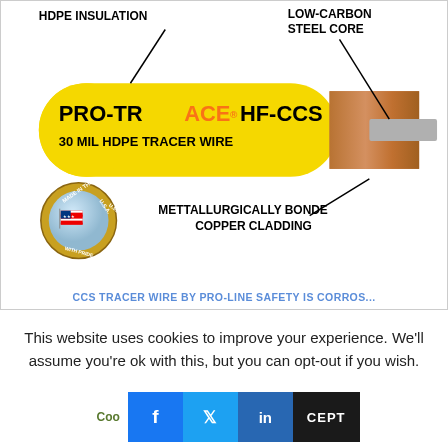[Figure (engineering-diagram): Cross-section diagram of PRO-TRACE HF-CCS 30 MIL HDPE TRACER WIRE showing HDPE INSULATION label (top-left), LOW-CARBON STEEL CORE label (top-right), a yellow cable body with copper cladding end and steel core visible, Made in the USA with Pride badge (bottom-left), and METTALLURGICALLY BONDED COPPER CLADDING label (bottom-right). Caption below reads: CCS TRACER WIRE BY PRO-LINE SAFETY IS CORROS...]
This website uses cookies to improve your experience. We'll assume you're ok with this, but you can opt-out if you wish.
Cookie Settings | [Facebook] [Twitter] [LinkedIn] | ACCEPT